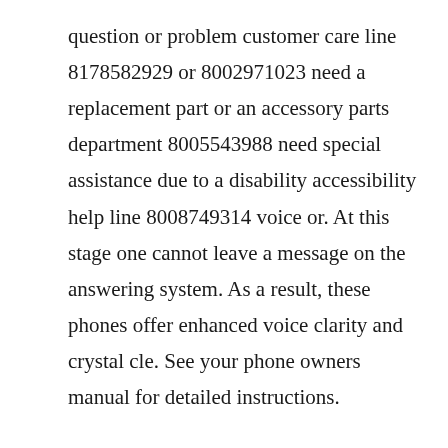question or problem customer care line 8178582929 or 8002971023 need a replacement part or an accessory parts department 8005543988 need special assistance due to a disability accessibility help line 8008749314 voice or. At this stage one cannot leave a message on the answering system. As a result, these phones offer enhanced voice clarity and crystal cle. See your phone owners manual for detailed instructions.
With this service, you can see the name and